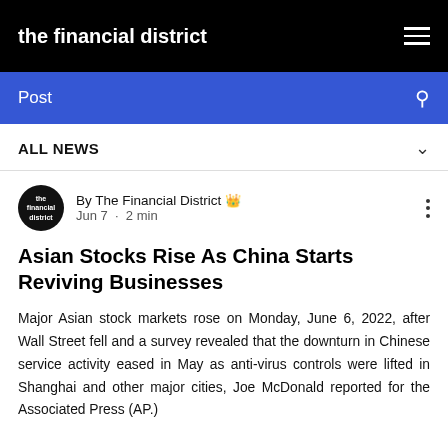the financial district
Post
ALL NEWS
By The Financial District
Jun 7 · 2 min
Asian Stocks Rise As China Starts Reviving Businesses
Major Asian stock markets rose on Monday, June 6, 2022, after Wall Street fell and a survey revealed that the downturn in Chinese service activity eased in May as anti-virus controls were lifted in Shanghai and other major cities, Joe McDonald reported for the Associated Press (AP.)